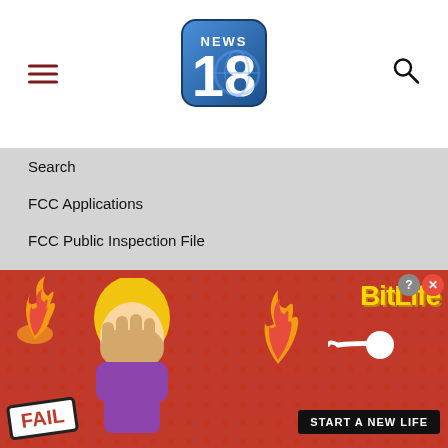[Figure (logo): NEWS 18 logo - blue rounded square with white NEWS text and large 18]
Search
FCC Applications
FCC Public Inspection File
EEO Report
Child Programming
Careers
Advertise with Us
Advertiser Payments
[Figure (illustration): BitLife advertisement banner with FAIL badge, cartoon facepalm character, flames, sperm icon, BitLife logo in gold, and START A NEW LIFE tagline on dark background]